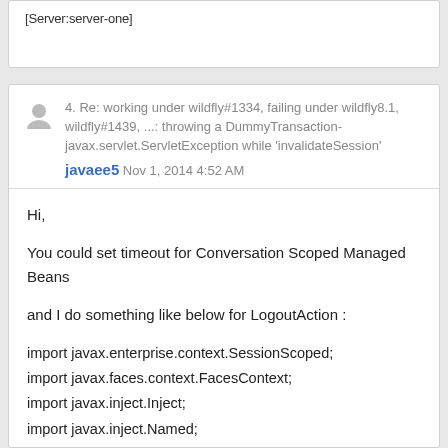[Server:server-one]
4. Re: working under wildfly#1334, failing under wildfly8.1, wildfly#1439, ...: throwing a DummyTransaction-javax.servlet.ServletException while 'invalidateSession'
javaee5  Nov 1, 2014 4:52 AM
Hi,
You could set timeout for Conversation Scoped Managed Beans
and I do something like below for LogoutAction :
import javax.enterprise.context.SessionScoped;
import javax.faces.context.FacesContext;
import javax.inject.Inject;
import javax.inject.Named;
import javax.servlet.http.HttpSession;